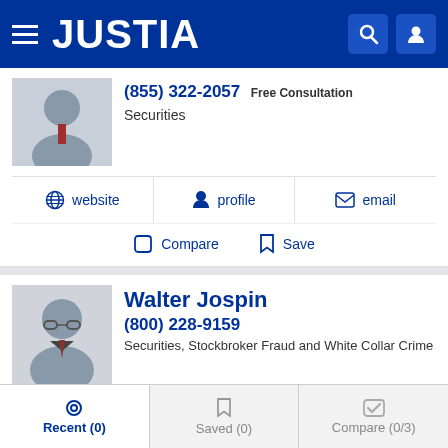JUSTIA
(855) 322-2057 Free Consultation
Securities
website  profile  email
Compare  Save
Walter Jospin
(800) 228-9159
Securities, Stockbroker Fraud and White Collar Crime
website  profile  email
Compare  Save
Recent (0)  Saved (0)  Compare (0/3)